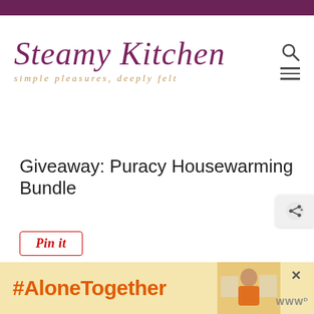[Figure (logo): Steamy Kitchen logo with cursive text 'Steamy Kitchen' in purple and tagline 'simple pleasures, deeply felt' in gold italic]
Giveaway: Puracy Housewarming Bundle
[Figure (other): Pin it button with red border]
[Figure (photo): White cleaning product bottles/spray bottles from Puracy brand, partially visible at bottom]
[Figure (other): Advertisement overlay with #AloneTogether text in orange on yellow background, with a photo of a woman in a kitchen and an X close button]